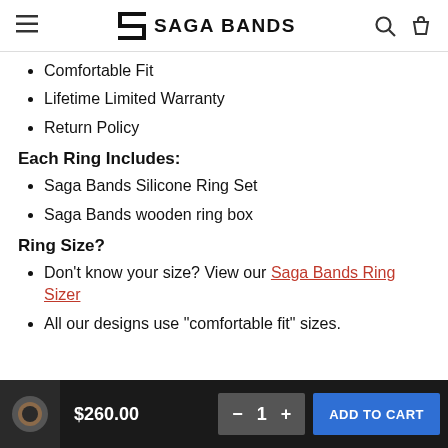SAGA BANDS
Comfortable Fit
Lifetime Limited Warranty
Return Policy
Each Ring Includes:
Saga Bands Silicone Ring Set
Saga Bands wooden ring box
Ring Size?
Don't know your size? View our Saga Bands Ring Sizer
All our designs use "comfortable fit" sizes.
$260.00  −  1  +  ADD TO CART